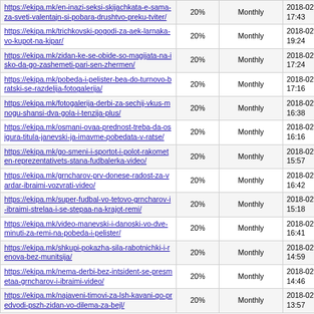| URL | Priority | Change Frequency | Last Modified |
| --- | --- | --- | --- |
| https://ekipa.mk/en-inazi-seksi-skijachkata-e-sama-za-sveti-valentajn-si-pobara-drushtvo-preku-tviter/ | 20% | Monthly | 2018-02-14 17:43 |
| https://ekipa.mk/trichkovski-pogodi-za-aek-larnaka-vo-kupot-na-kipar/ | 20% | Monthly | 2018-02-14 19:24 |
| https://ekipa.mk/zidan-ke-se-obide-so-magijata-na-isko-da-go-zashemeti-pari-sen-zhermen/ | 20% | Monthly | 2018-02-14 17:24 |
| https://ekipa.mk/pobeda-i-pelister-bea-do-turnovo-bratski-se-razdelija-fotogalerija/ | 20% | Monthly | 2018-02-14 17:16 |
| https://ekipa.mk/fotogalerija-derbi-za-sechij-vkus-mnogu-shansi-dva-gola-i-tenzija-plus/ | 20% | Monthly | 2018-02-14 16:38 |
| https://ekipa.mk/osmani-ovaa-prednost-treba-da-osigura-titula-janevski-ja-imavme-pobedata-v-ratse/ | 20% | Monthly | 2018-02-14 16:16 |
| https://ekipa.mk/go-smeni-i-sportot-i-polot-rakometen-reprezentativets-stana-fudbalerka-video/ | 20% | Monthly | 2018-02-14 15:57 |
| https://ekipa.mk/grncharov-prv-donese-radost-za-vardar-ibraimi-vozvrati-video/ | 20% | Monthly | 2018-02-14 16:42 |
| https://ekipa.mk/super-fudbal-vo-tetovo-grncharov-i-ibraimi-strelaa-i-se-stepaa-na-krajot-remi/ | 20% | Monthly | 2018-02-14 15:18 |
| https://ekipa.mk/video-manevski-i-danoski-vo-dve-minuti-za-remi-na-pobeda-i-pelister/ | 20% | Monthly | 2018-02-14 16:41 |
| https://ekipa.mk/shkupi-pokazha-sila-rabotnichki-i-renova-bez-munitsija/ | 20% | Monthly | 2018-02-14 14:59 |
| https://ekipa.mk/nema-derbi-bez-intsident-se-presmetaa-grncharov-i-ibraimi-video/ | 20% | Monthly | 2018-02-14 14:46 |
| https://ekipa.mk/najaveni-timovi-za-lsh-kavani-go-predvodi-pszh-zidan-vo-dilema-za-bejl/ | 20% | Monthly | 2018-02-14 13:57 |